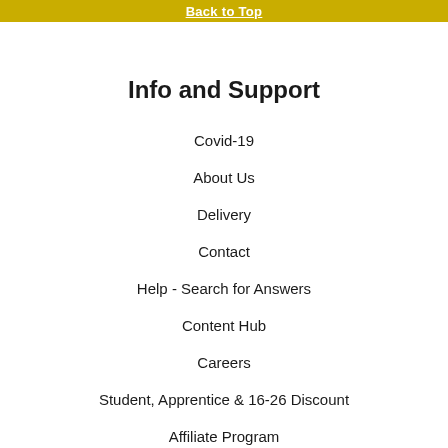Back to Top
Info and Support
Covid-19
About Us
Delivery
Contact
Help - Search for Answers
Content Hub
Careers
Student, Apprentice & 16-26 Discount
Affiliate Program